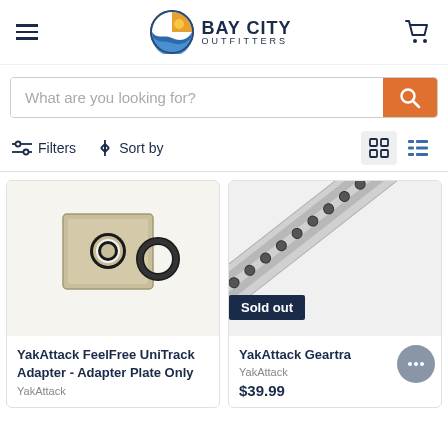Bay City Outfitters
What are you looking for?
Filters | Sort by
[Figure (photo): YakAttack FeelFree UniTrack Adapter plate component, beige/tan colored rectangular plate with hole and a black rubber O-ring]
YakAttack FeelFree UniTrack Adapter - Adapter Plate Only
YakAttack
[Figure (photo): YakAttack Geartrac accessory rail, aluminum track with bolt hardware, diagonal view, with Sold out badge]
YakAttack Geartra
YakAttack
$39.99